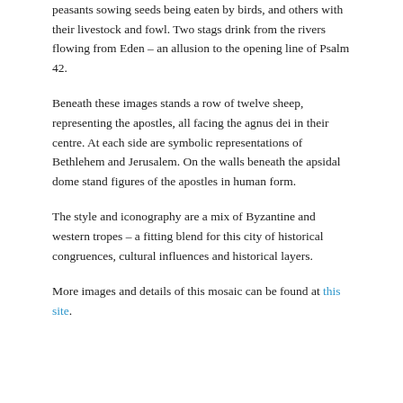peasants sowing seeds being eaten by birds, and others with their livestock and fowl. Two stags drink from the rivers flowing from Eden – an allusion to the opening line of Psalm 42.
Beneath these images stands a row of twelve sheep, representing the apostles, all facing the agnus dei in their centre. At each side are symbolic representations of Bethlehem and Jerusalem. On the walls beneath the apsidal dome stand figures of the apostles in human form.
The style and iconography are a mix of Byzantine and western tropes – a fitting blend for this city of historical congruences, cultural influences and historical layers.
More images and details of this mosaic can be found at this site.